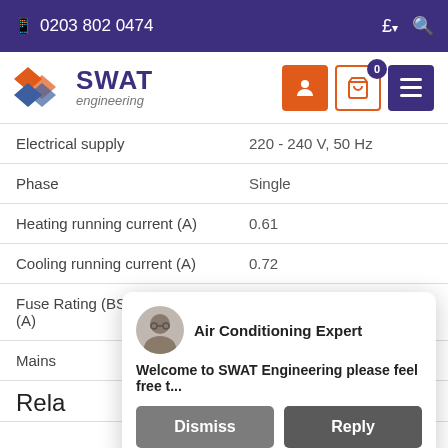☎ 0203 802 0474   £ ▾  🔍
[Figure (logo): SWAT Engineering logo with orange/blue diamond shapes and purple SWAT text]
| Electrical supply | 220 - 240 V, 50 Hz |
| Phase | Single |
| Heating running current (A) | 0.61 |
| Cooling running current (A) | 0.72 |
| Fuse Rating (BS88) - HRC (A) | 6 |
| Mains |  |
Rela
[Figure (screenshot): Chat popup from Air Conditioning Expert: 'Welcome to SWAT Engineering please feel free t...' with Dismiss and Reply buttons]